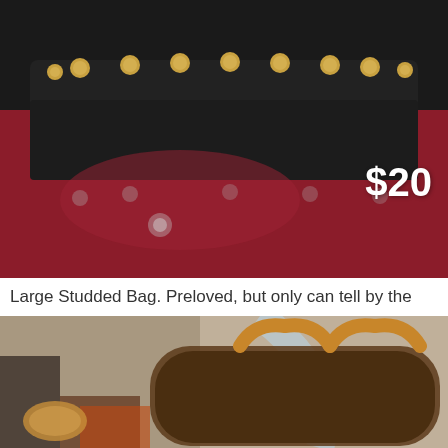[Figure (photo): Product listing photo of a large black studded handbag against a dark red/burgundy background, with gold dome studs along the top edge of the bag. Price tag of $20 shown in white text in bottom right of image.]
Large Studded Bag. Preloved, but only can tell by the
[Figure (photo): Poshmark app screenshot showing a Louis Vuitton Speedy monogram bag with tan leather handles, displayed alongside sunglasses and a leather wallet on an urban textured background. Poshmark logo overlay in top left.]